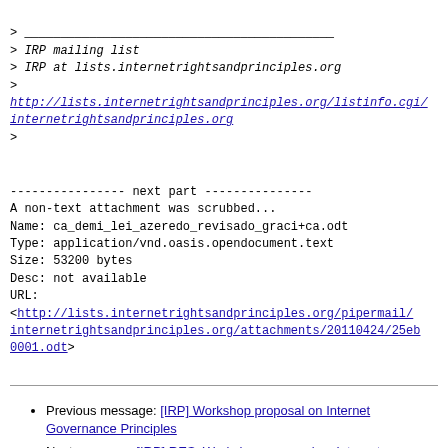> ___
> IRP mailing list
> IRP at lists.internetrightsandprinciples.org
>
> http://lists.internetrightsandprinciples.org/listinfo.cgi/internetrightsandprinciples.org
>
---------------- next part ---------------
A non-text attachment was scrubbed...
Name: ca_demi_lei_azeredo_revisado_graci+ca.odt
Type: application/vnd.oasis.opendocument.text
Size: 53200 bytes
Desc: not available
URL:
<http://lists.internetrightsandprinciples.org/pipermail/internetrightsandprinciples.org/attachments/20110424/25eb0001.odt>
Previous message: [IRP] Workshop proposal on Internet Governance Principles
Next message: [IRP] RES: Workshop proposal on Internet Governance Principles
Messages sorted by: [ date ] [ thread ] [ subject ] [ author ]
More information about the IRP mailing list